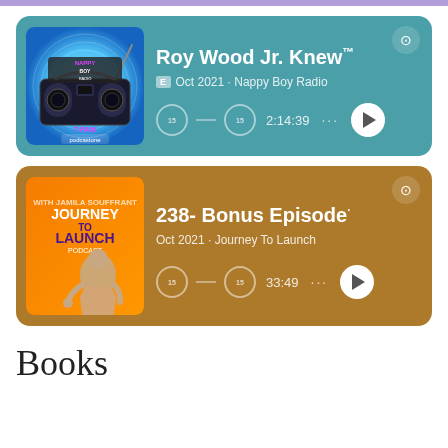[Figure (screenshot): Spotify podcast card for 'Roy Wood Jr. Knew' - Nappy Boy Radio, Oct 2021, duration 2:14:39, teal background with podcast artwork]
[Figure (screenshot): Spotify podcast card for '238- Bonus Episode' - Journey To Launch, Oct 2021, duration 33:49, brown/gold background with podcast artwork]
Books